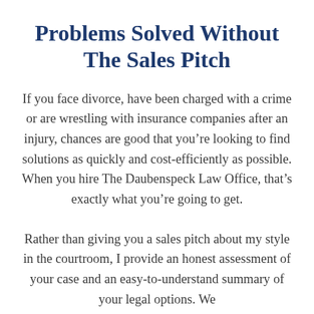Problems Solved Without The Sales Pitch
If you face divorce, have been charged with a crime or are wrestling with insurance companies after an injury, chances are good that you’re looking to find solutions as quickly and cost-efficiently as possible. When you hire The Daubenspeck Law Office, that’s exactly what you’re going to get.
Rather than giving you a sales pitch about my style in the courtroom, I provide an honest assessment of your case and an easy-to-understand summary of your legal options. We